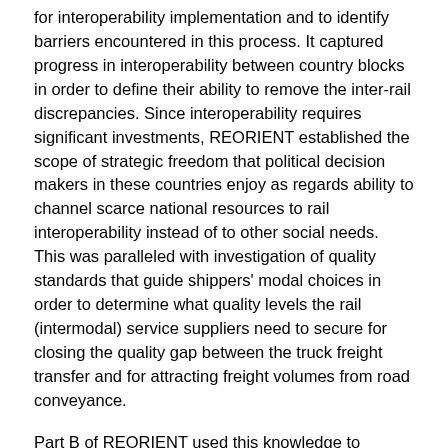for interoperability implementation and to identify barriers encountered in this process. It captured progress in interoperability between country blocks in order to define their ability to remove the inter-rail discrepancies. Since interoperability requires significant investments, REORIENT established the scope of strategic freedom that political decision makers in these countries enjoy as regards ability to channel scarce national resources to rail interoperability instead of to other social needs. This was paralleled with investigation of quality standards that guide shippers' modal choices in order to determine what quality levels the rail (intermodal) service suppliers need to secure for closing the quality gap between the truck freight transfer and for attracting freight volumes from road conveyance.
Part B of REORIENT used this knowledge to propose several measures designed to remove, circumvent and/or neutralize the interoperability barriers. Further, it evaluated the effectiveness of different policy strategies as regards distribution of welfare and negative externalities among different classes of social actors. In addition, REORIENT created a Knowledge Base which served as a repository of